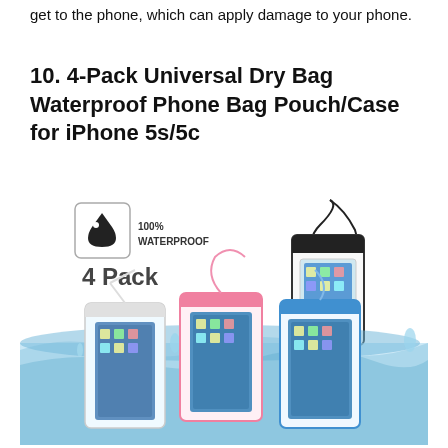get to the phone, which can apply damage to your phone.
10. 4-Pack Universal Dry Bag Waterproof Phone Bag Pouch/Case for iPhone 5s/5c
[Figure (photo): Product photo of a 4-Pack Universal Dry Bag Waterproof Phone Bag Pouch/Case for iPhone 5s/5c. Top image shows one black/clear waterproof phone pouch with lanyard and a waterproof icon badge reading '100% WATERPROOF' and '4 Pack'. Bottom image shows three waterproof phone pouches (clear/white, pink, and blue) submerged in splashing water, each containing a smartphone.]